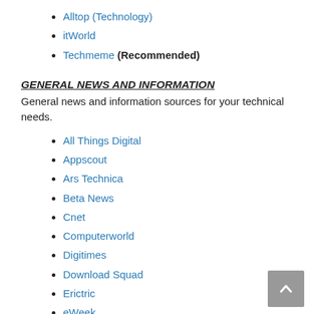Alltop (Technology)
itWorld
Techmeme (Recommended)
GENERAL NEWS AND INFORMATION
General news and information sources for your technical needs.
All Things Digital
Appscout
Ars Technica
Beta News
Cnet
Computerworld
Digitimes
Download Squad
Erictric
eWeek
Geek.com
GigaOm
Information Week
Infoworld